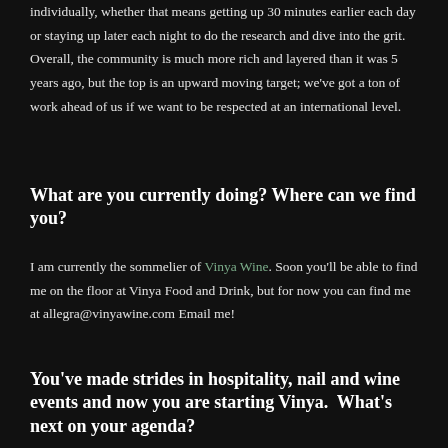individually, whether that means getting up 30 minutes earlier each day or staying up later each night to do the research and dive into the grit. Overall, the community is much more rich and layered than it was 5 years ago, but the top is an upward moving target; we've got a ton of work ahead of us if we want to be respected at an international level.
What are you currently doing? Where can we find you?
I am currently the sommelier of Vinya Wine. Soon you'll be able to find me on the floor at Vinya Food and Drink, but for now you can find me at allegra@vinyawine.com Email me!
You've made strides in hospitality, nail and wine events and now you are starting Vinya.  What's next on your agenda?